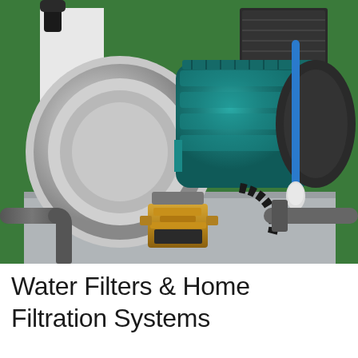[Figure (photo): Close-up photograph of a water pump filtration system on a green background. The system features a large stainless steel impeller housing on the left, a teal/green electric motor in the center, a black corrugated conduit cable, a blue tube with a white float valve on the right, a brass solenoid valve at the bottom center, and grey PVC piping connecting the components. The unit is mounted on a grey metal frame.]
Water Filters & Home Filtration Systems